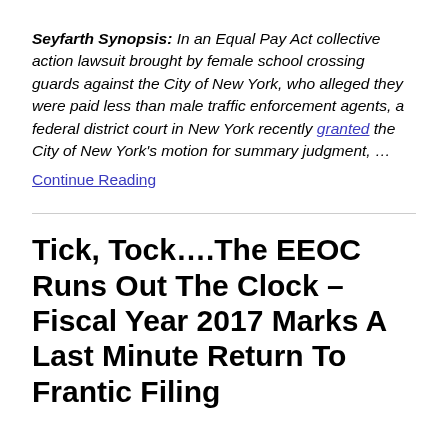Seyfarth Synopsis: In an Equal Pay Act collective action lawsuit brought by female school crossing guards against the City of New York, who alleged they were paid less than male traffic enforcement agents, a federal district court in New York recently granted the City of New York's motion for summary judgment, …
Continue Reading
Tick, Tock….The EEOC Runs Out The Clock – Fiscal Year 2017 Marks A Last Minute Return To Frantic Filing